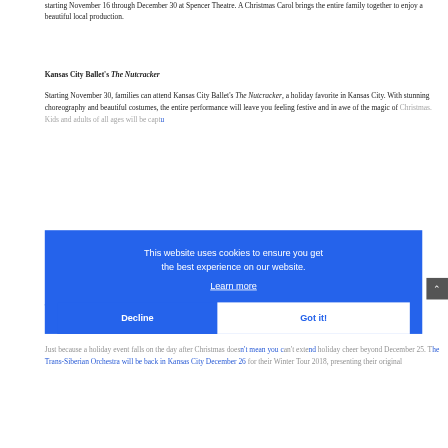starting November 16 through December 30 at Spencer Theatre. A Christmas Carol brings the entire family together to enjoy a beautiful local production.
Kansas City Ballet's The Nutcracker
Starting November 30, families can attend Kansas City Ballet's The Nutcracker, a holiday favorite in Kansas City. With stunning choreography and beautiful costumes, the entire performance will leave you feeling festive and in awe of the magic of Christmas. Kids and adults of all ages will be captured...
Trans-Siberian Orchestra
Just because a holiday event falls on the day after Christmas doesn't mean you can't extend holiday cheer beyond December 25. The Trans-Siberian Orchestra will be back in Kansas City December 26 for their Winter Tour 2018, presenting their original
This website uses cookies to ensure you get the best experience on our website.
Learn more
Decline  Got it!